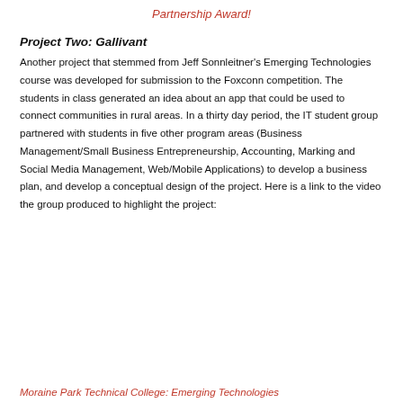Partnership Award!
Project Two: Gallivant
Another project that stemmed from Jeff Sonnleitner's Emerging Technologies course was developed for submission to the Foxconn competition. The students in class generated an idea about an app that could be used to connect communities in rural areas. In a thirty day period, the IT student group partnered with students in five other program areas (Business Management/Small Business Entrepreneurship, Accounting, Marking and Social Media Management, Web/Mobile Applications) to develop a business plan, and develop a conceptual design of the project. Here is a link to the video the group produced to highlight the project:
Moraine Park Technical College: Emerging Technologies